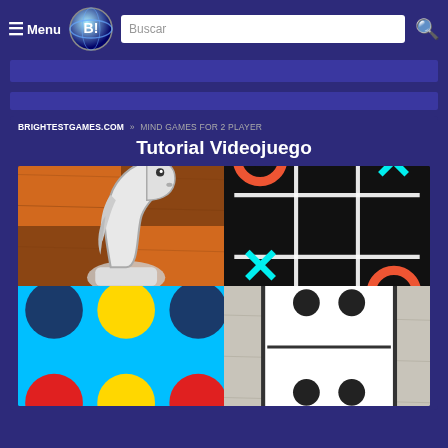Menu  Buscar
BRIGHTESTGAMES.COM » MIND GAMES FOR 2 PLAYER
Tutorial Videojuego
[Figure (photo): A 2x2 grid of board game icons: top-left shows a white chess knight piece on a wooden chessboard; top-right shows a tic-tac-toe game with red O's and cyan X's on black background; bottom-left shows a Connect Four game with blue, yellow and red circular pieces on a light blue board; bottom-right shows a domino tile with 4 dots on a light wooden background.]